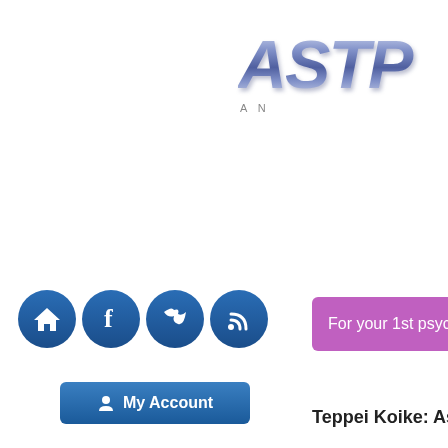[Figure (logo): ASTRO logo with large italic bold text in blue-grey gradient metallic style, with subtitle text 'AN' below]
[Figure (infographic): Row of four circular dark blue social media icons: home, Facebook, Twitter, RSS feed]
My Account
For your 1st psychic reading, get 1
Teppei Koike: As